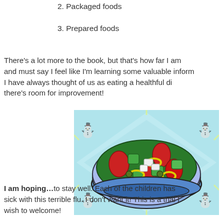2. Packaged foods
3. Prepared foods
There's a lot more to the book, but that's how far I am and must say I feel like I'm learning some valuable information. I have always thought of us as eating a healthful diet there's room for improvement!
[Figure (illustration): Colorful illustration of a salad bowl with green leaves, red tomato slices, green cucumber pieces, yellow onion rings, white cheese chunks, and green olives, on a decorative light blue background with spiral patterns.]
I am hoping…to stay well. Each of the children has sick with this terrible flu. I don't want it! This is a trial I wish to welcome!